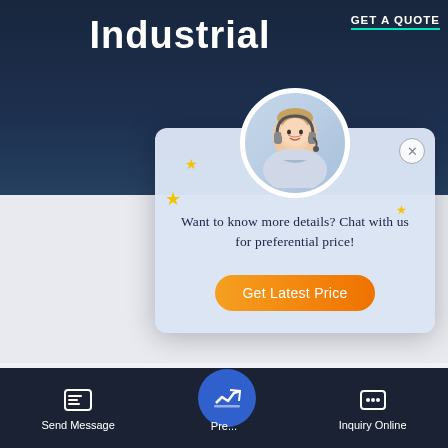[Figure (screenshot): Website screenshot with dark blue industrial background showing the word 'Industrial' as a large header, a 'GET A QUOTE' link top right]
Industrial
GET A QUOTE
[Figure (screenshot): Chat popup modal with customer service agent avatar, text 'Want to know more details? Chat with us for preferential price!' and orange 'Get Latest Price' button, plus a close X button]
Want to know more details? Chat with us for preferential price!
Get Latest Price
10 To... ...istrial
HOT NEWS
Save Stickers on WhatsApp
Send Message
Pre...
Inquiry Online